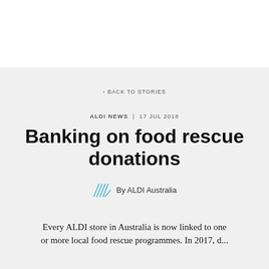< BACK TO STORIES
ALDI NEWS  |  17 JUL 2018
Banking on food rescue donations
By ALDI Australia
Every ALDI store in Australia is now linked to one or more local food rescue programmes. In 2017, d...